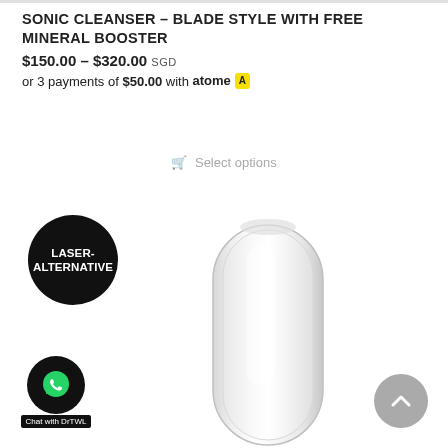SONIC CLEANSER – BLADE STYLE WITH FREE MINERAL BOOSTER
$150.00 – $320.00 SGD
or 3 payments of $50.00 with atome
Select options
[Figure (illustration): Black circular badge with white text reading LASER-ALTERNATIVE]
[Figure (photo): Sonic cleanser blade-style device – a transparent elongated blade-shaped device with rounded top on white background]
[Figure (logo): WhatsApp contact button – black circle with WhatsApp icon and Chat with DrTWL label]
[Figure (other): Scroll to top button – grey circle with upward chevron arrow]